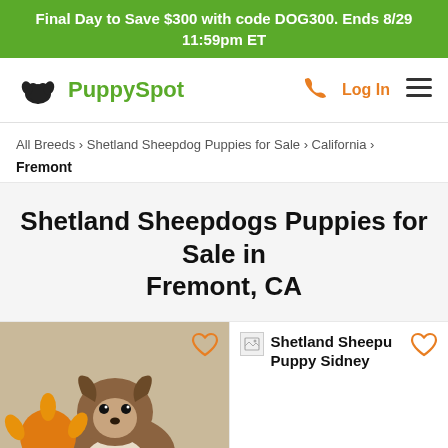Final Day to Save $300 with code DOG300. Ends 8/29 11:59pm ET
[Figure (logo): PuppySpot logo with dog icon and green text]
All Breeds › Shetland Sheepdog Puppies for Sale › California › Fremont
Shetland Sheepdogs Puppies for Sale in Fremont, CA
[Figure (photo): Shetland Sheepdog puppy photo with orange flower in white vase]
Shetland Sheepu Puppy Sidney
Champion Bloodlines